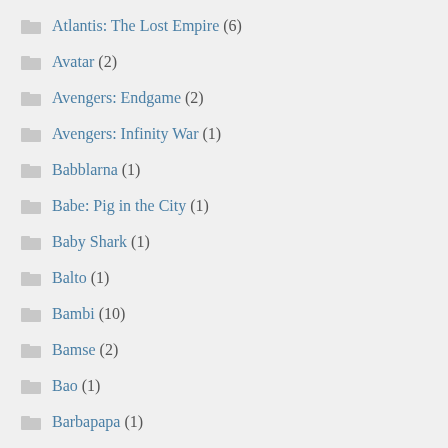Atlantis: The Lost Empire (6)
Avatar (2)
Avengers: Endgame (2)
Avengers: Infinity War (1)
Babblarna (1)
Babe: Pig in the City (1)
Baby Shark (1)
Balto (1)
Bambi (10)
Bamse (2)
Bao (1)
Barbapapa (1)
Beauty & The Beast (19)
Beauty & The Beast (Live Action) (3)